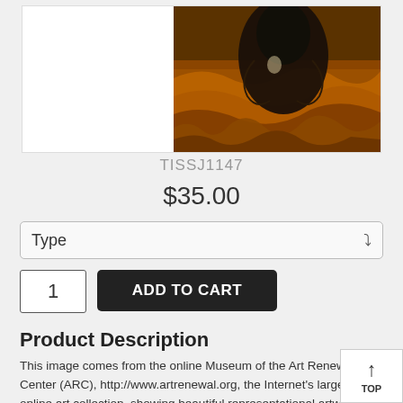[Figure (photo): Partial product image showing a dark bird/animal among autumn-colored foliage, painting style from Art Renewal Center]
TISSJ1147
$35.00
Type
1
ADD TO CART
Product Description
This image comes from the online Museum of the Art Renewal Center (ARC), http://www.artrenewal.org, the Internet's largest online art collection, showing beautiful representational artwork from all of art history and featuring the great, forgotten works of the 19th centu
These top-quality Fine Art Prints are printed on Archival Fine Art
TOP